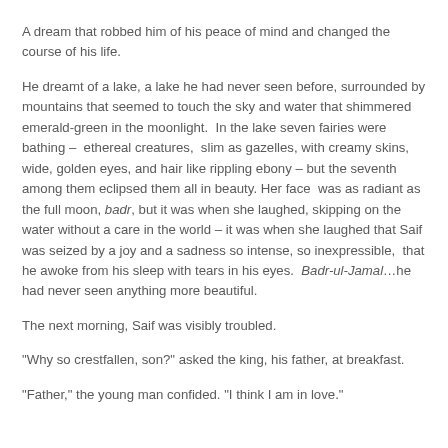A dream that robbed him of his peace of mind and changed the course of his life.
He dreamt of a lake, a lake he had never seen before, surrounded by mountains that seemed to touch the sky and water that shimmered emerald-green in the moonlight.  In the lake seven fairies were bathing –  ethereal creatures,  slim as gazelles, with creamy skins, wide, golden eyes, and hair like rippling ebony – but the seventh among them eclipsed them all in beauty. Her face  was as radiant as the full moon, badr, but it was when she laughed, skipping on the water without a care in the world – it was when she laughed that Saif was seized by a joy and a sadness so intense, so inexpressible,  that he awoke from his sleep with tears in his eyes.  Badr-ul-Jamal…he had never seen anything more beautiful.
The next morning, Saif was visibly troubled.
"Why so crestfallen, son?" asked the king, his father, at breakfast.
"Father," the young man confided. "I think I am in love."